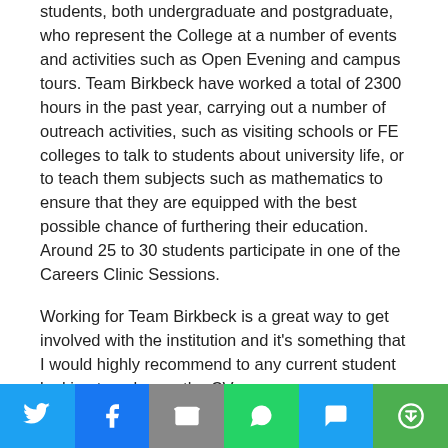students, both undergraduate and postgraduate, who represent the College at a number of events and activities such as Open Evening and campus tours. Team Birkbeck have worked a total of 2300 hours in the past year, carrying out a number of outreach activities, such as visiting schools or FE colleges to talk to students about university life, or to teach them subjects such as mathematics to ensure that they are equipped with the best possible chance of furthering their education. Around 25 to 30 students participate in one of the Careers Clinic Sessions.
Working for Team Birkbeck is a great way to get involved with the institution and it's something that I would highly recommend to any current student looking to enhance the CV.
[Figure (infographic): Social sharing toolbar with Twitter, Facebook, Email, WhatsApp, SMS, and Share buttons]